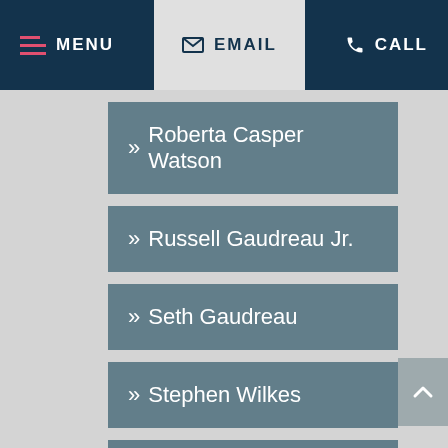MENU | EMAIL | CALL
» Roberta Casper Watson
» Russell Gaudreau Jr.
» Seth Gaudreau
» Stephen Wilkes
» Susan Rees
» Thomas Clark
» Virginia Peabody